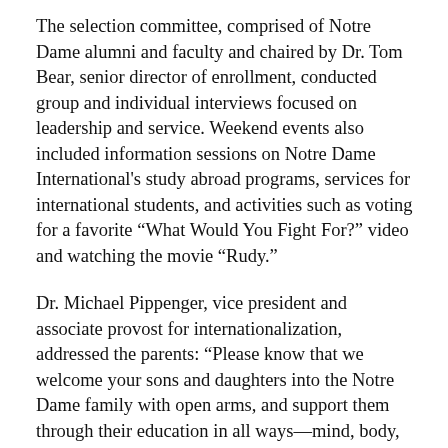The selection committee, comprised of Notre Dame alumni and faculty and chaired by Dr. Tom Bear, senior director of enrollment, conducted group and individual interviews focused on leadership and service. Weekend events also included information sessions on Notre Dame International's study abroad programs, services for international students, and activities such as voting for a favorite “What Would You Fight For?” video and watching the movie “Rudy.”
Dr. Michael Pippenger, vice president and associate provost for internationalization, addressed the parents: “Please know that we welcome your sons and daughters into the Notre Dame family with open arms, and support them through their education in all ways—mind, body, and spirit—to become the leaders who know and do what is right to promote good in the world.” Current parents of Notre Dame students provided insight, perspective, and advice for